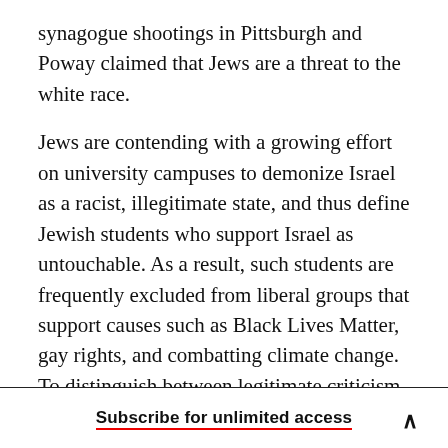synagogue shootings in Pittsburgh and Poway claimed that Jews are a threat to the white race.
Jews are contending with a growing effort on university campuses to demonize Israel as a racist, illegitimate state, and thus define Jewish students who support Israel as untouchable. As a result, such students are frequently excluded from liberal groups that support causes such as Black Lives Matter, gay rights, and combatting climate change. To distinguish between legitimate criticism of Israel and racism, the Soviet refusenik turned Israeli politician Natan Sharansky applies “the three D’s”:
Subscribe for unlimited access